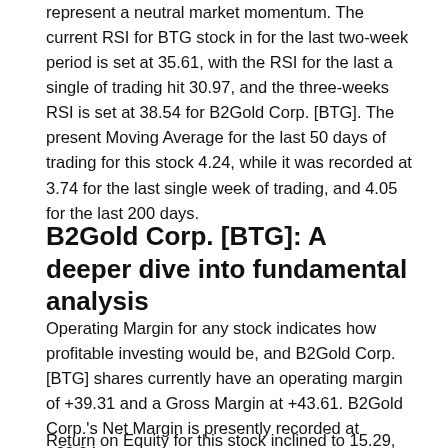represent a neutral market momentum. The current RSI for BTG stock in for the last two-week period is set at 35.61, with the RSI for the last a single of trading hit 30.97, and the three-weeks RSI is set at 38.54 for B2Gold Corp. [BTG]. The present Moving Average for the last 50 days of trading for this stock 4.24, while it was recorded at 3.74 for the last single week of trading, and 4.05 for the last 200 days.
B2Gold Corp. [BTG]: A deeper dive into fundamental analysis
Operating Margin for any stock indicates how profitable investing would be, and B2Gold Corp. [BTG] shares currently have an operating margin of +39.31 and a Gross Margin at +43.61. B2Gold Corp.'s Net Margin is presently recorded at +23.84.
Return on Equity for this stock inclined to 15.29, with Return